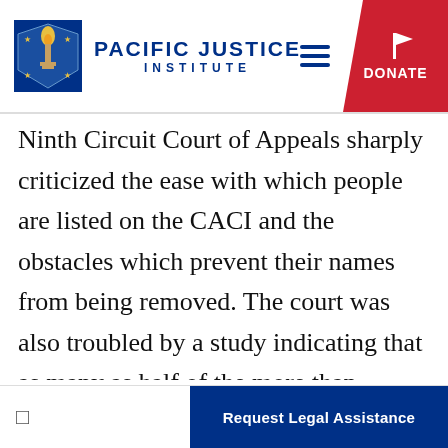Pacific Justice Institute
Ninth Circuit Court of Appeals sharply criticized the ease with which people are listed on the CACI and the obstacles which prevent their names from being removed. The court was also troubled by a study indicating that as many as half of the more than 800,000 inpiduals listed on the CACI “may have a legitimate basis for expungement.” Calling the list “the reverse of the presumption of innocence in our criminal justice system,” the court ordered the state to [provide procedural] safeguards.